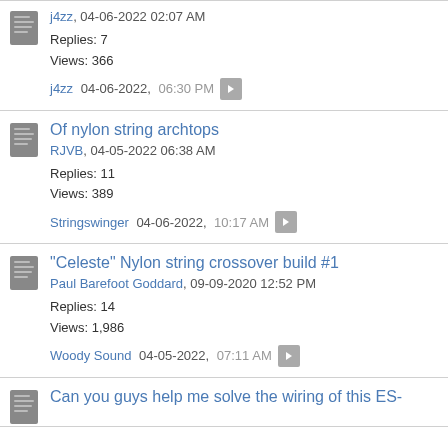j4zz, 04-06-2022 02:07 AM
Replies: 7
Views: 366
j4zz 04-06-2022, 06:30 PM
Of nylon string archtops
RJVB, 04-05-2022 06:38 AM
Replies: 11
Views: 389
Stringswinger 04-06-2022, 10:17 AM
"Celeste" Nylon string crossover build #1
Paul Barefoot Goddard, 09-09-2020 12:52 PM
Replies: 14
Views: 1,986
Woody Sound 04-05-2022, 07:11 AM
Can you guys help me solve the wiring of this ES-